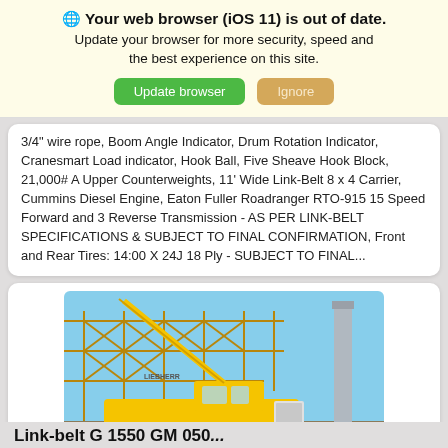🌐 Your web browser (iOS 11) is out of date. Update your browser for more security, speed and the best experience on this site. [Update browser] [Ignore]
3/4" wire rope, Boom Angle Indicator, Drum Rotation Indicator, Cranesmart Load indicator, Hook Ball, Five Sheave Hook Block, 21,000# A Upper Counterweights, 11' Wide Link-Belt 8 x 4 Carrier, Cummins Diesel Engine, Eaton Fuller Roadranger RTO-915 15 Speed Forward and 3 Reverse Transmission - AS PER LINK-BELT SPECIFICATIONS & SUBJECT TO FINAL CONFIRMATION, Front and Rear Tires: 14:00 X 24J 18 Ply - SUBJECT TO FINAL...
[Figure (photo): Yellow Liebherr crane truck on a construction site with steel framework and a tall tower in the background.]
Link-belt G 1550 GM 050...